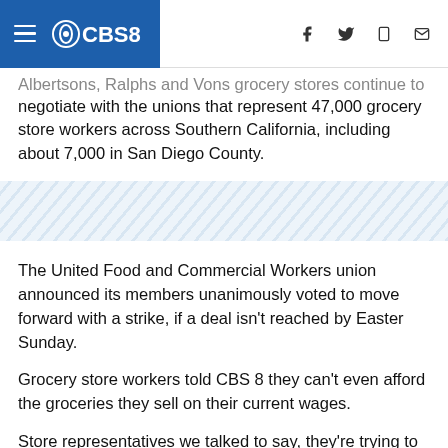CBS8 — navigation header with logo and social icons
Albertsons, Ralphs and Vons grocery stores continue to negotiate with the unions that represent 47,000 grocery store workers across Southern California, including about 7,000 in San Diego County.
[Figure (other): Diagonal stripe decorative divider band]
The United Food and Commercial Workers union announced its members unanimously voted to move forward with a strike, if a deal isn't reached by Easter Sunday.
Grocery store workers told CBS 8 they can't even afford the groceries they sell on their current wages.
Store representatives we talked to say, they're trying to keep the cost of groceries down for all consumers.